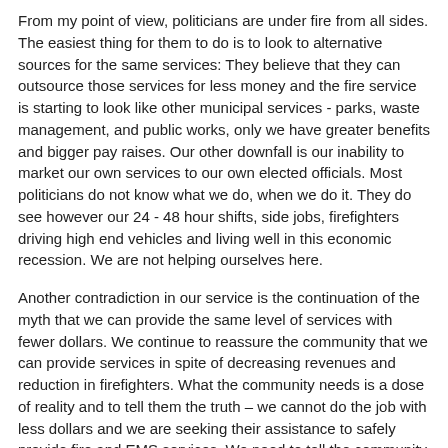From my point of view, politicians are under fire from all sides. The easiest thing for them to do is to look to alternative sources for the same services: They believe that they can outsource those services for less money and the fire service is starting to look like other municipal services - parks, waste management, and public works, only we have greater benefits and bigger pay raises. Our other downfall is our inability to market our own services to our own elected officials. Most politicians do not know what we do, when we do it. They do see however our 24 - 48 hour shifts, side jobs, firefighters driving high end vehicles and living well in this economic recession. We are not helping ourselves here.
Another contradiction in our service is the continuation of the myth that we can provide the same level of services with fewer dollars. We continue to reassure the community that we can provide services in spite of decreasing revenues and reduction in firefighters. What the community needs is a dose of reality and to tell them the truth – we cannot do the job with less dollars and we are seeking their assistance to safely provide fire and EMS services. We need to tell the community it may take more time to arrive at your emergency, with fewer resources and that is the new reality. Is the community willing to take that risk? I think they are – as they continue to vote down tax initiatives for fire protection and other essential community services.
The tax payer is getting tired of paying more taxes to keep a certain group of government workers working. The taxpayers themselves are already